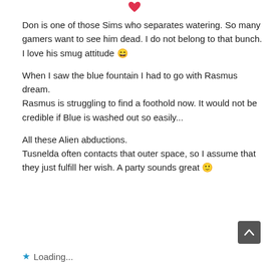[Figure (illustration): Red heart emoji at top center]
Don is one of those Sims who separates watering. So many gamers want to see him dead. I do not belong to that bunch. I love his smug attitude 😄
When I saw the blue fountain I had to go with Rasmus dream.
Rasmus is struggling to find a foothold now. It would not be credible if Blue is washed out so easily...
All these Alien abductions.
Tusnelda often contacts that outer space, so I assume that they just fulfill her wish. A party sounds great 🙂
⭐ Loading...